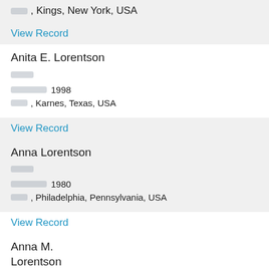[blurred], Kings, New York, USA
View Record
Anita E. Lorentson
[blurred]
[blurred] 1998
[blurred], Karnes, Texas, USA
View Record
Anna Lorentson
[blurred]
[blurred] 1980
[blurred], Philadelphia, Pennsylvania, USA
View Record
Anna M. Lorentson
[blurred]